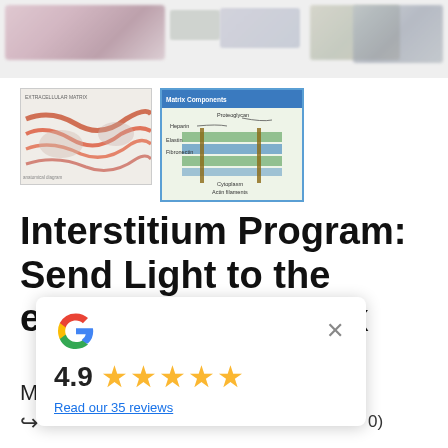[Figure (screenshot): Top banner with blurred product thumbnail images]
[Figure (photo): Thumbnail image labeled EXTRACELLULAR MATRIX showing anatomical diagram with red/orange fibrous structures]
[Figure (illustration): Thumbnail image showing Matrix Components diagram with Proteoglycan, Heparin, Elastin, Fibronectin, Cytoplasm, Actin filaments layers]
Interstitium Program: Send Light to the extracellular matrix
MSRP: $87.00
[Figure (screenshot): Google review popup showing 4.9 star rating with 5 gold stars and link to Read our 35 reviews]